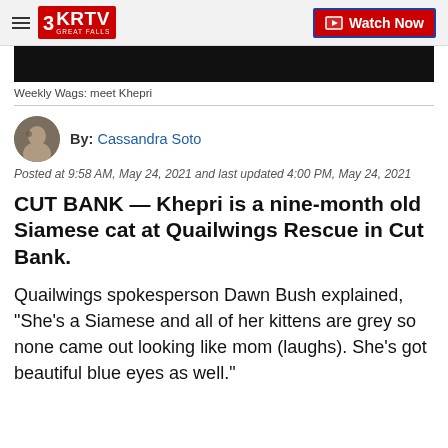3KRTV GREAT FALLS | Watch Now
[Figure (photo): Dark/black image strip at top of article]
Weekly Wags: meet Khepri
By: Cassandra Soto
Posted at 9:58 AM, May 24, 2021 and last updated 4:00 PM, May 24, 2021
CUT BANK — Khepri is a nine-month old Siamese cat at Quailwings Rescue in Cut Bank.
Quailwings spokesperson Dawn Bush explained, “She’s a Siamese and all of her kittens are grey so none came out looking like mom (laughs). She’s got beautiful blue eyes as well.”